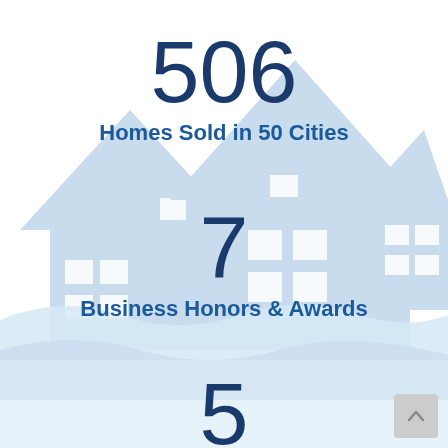[Figure (illustration): Light blue illustrated background with two houses/rooftops with windows, and three wavy horizontal bands in the lower portion, all in pale blue tones.]
506
Homes Sold in 50 Cities
7
Business Honors & Awards
5
Member Team & GROWING!